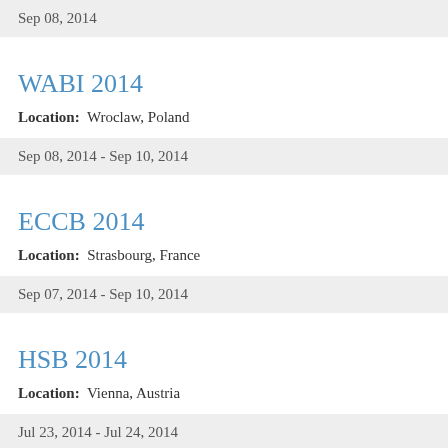Sep 08, 2014
WABI 2014
Location:  Wroclaw, Poland
Sep 08, 2014 - Sep 10, 2014
ECCB 2014
Location:  Strasbourg, France
Sep 07, 2014 - Sep 10, 2014
HSB 2014
Location:  Vienna, Austria
Jul 23, 2014 - Jul 24, 2014